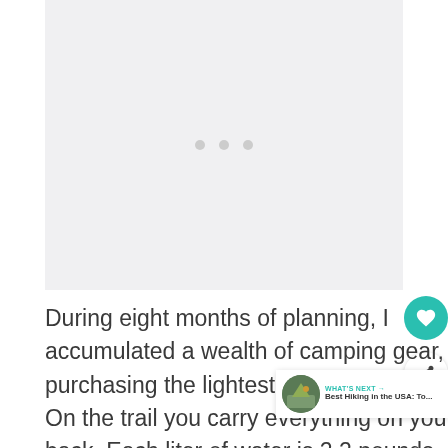[Figure (other): Image placeholder with three grey dots indicating loading or ad content]
During eight months of planning, I accumulated a wealth of camping gear, purchasing the lightest pieces pos… On the trail you carry everything on your back. Each liter of water is 2.2 pounds